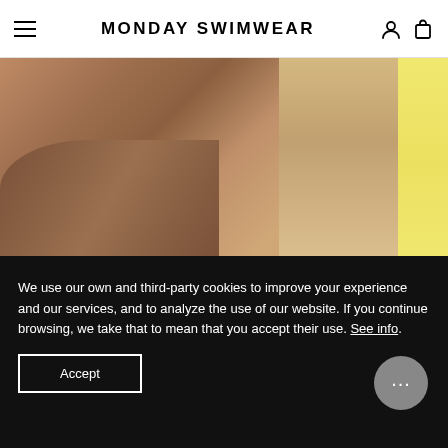MONDAY SWIMWEAR
[Figure (photo): Close-up product photo of a person wearing a gold shimmer swimwear top, cropped view of torso and legs on a light background. A yellow highlighted area visible on the right edge.]
PALMA TOP - GOLD SHIMMER
$79 USD
We use our own and third-party cookies to improve your experience and our services, and to analyze the use of our website. If you continue browsing, we take that to mean that you accept their use. See info.
Accept